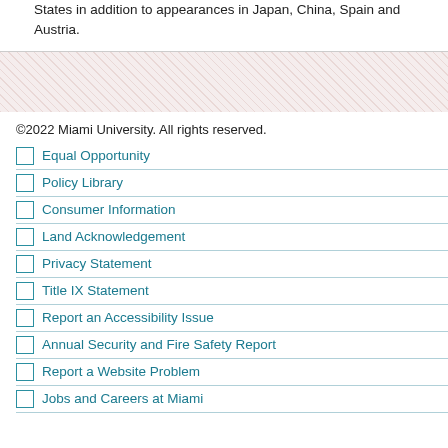States in addition to appearances in Japan, China, Spain and Austria.
[Figure (other): Diagonal hatch pattern decorative area in muted red/pink tones]
©2022 Miami University. All rights reserved.
Equal Opportunity
Policy Library
Consumer Information
Land Acknowledgement
Privacy Statement
Title IX Statement
Report an Accessibility Issue
Annual Security and Fire Safety Report
Report a Website Problem
Jobs and Careers at Miami